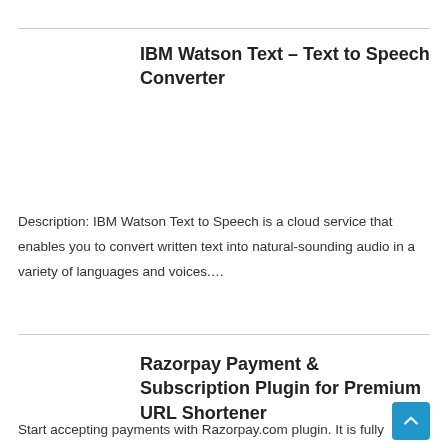IBM Watson Text – Text to Speech Converter
Description: IBM Watson Text to Speech is a cloud service that enables you to convert written text into natural-sounding audio in a variety of languages and voices....
Razorpay Payment & Subscription Plugin for Premium URL Shortener
Start accepting payments with Razorpay.com plugin. It is fully